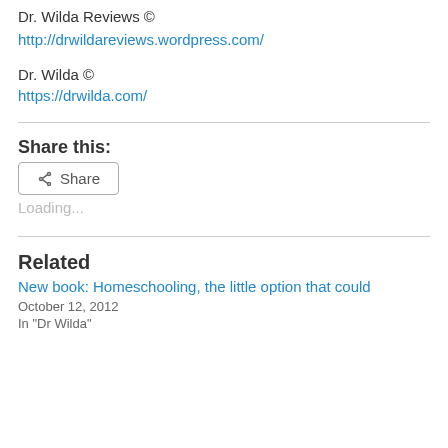Dr. Wilda Reviews ©
http://drwildareviews.wordpress.com/
Dr. Wilda ©
https://drwilda.com/
Share this:
[Figure (other): Share button with share icon]
Loading...
Related
New book: Homeschooling, the little option that could
October 12, 2012
In "Dr Wilda"